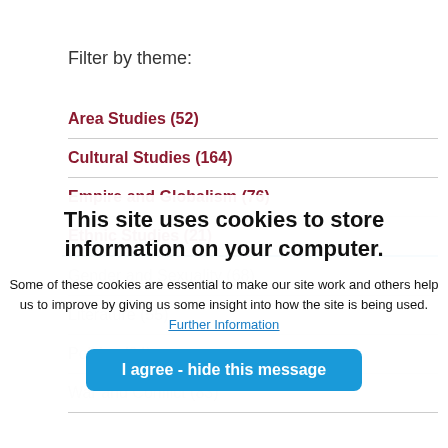Filter by theme:
Area Studies (52)
Cultural Studies (164)
Empire and Globalism (76)
Ethnic Studies (21)
Gender and Sexuality (68)
Literature (55)
Politics (34)
War and Conflict (83)
This site uses cookies to store information on your computer.

Some of these cookies are essential to make our site work and others help us to improve by giving us some insight into how the site is being used. Further Information

I agree - hide this message